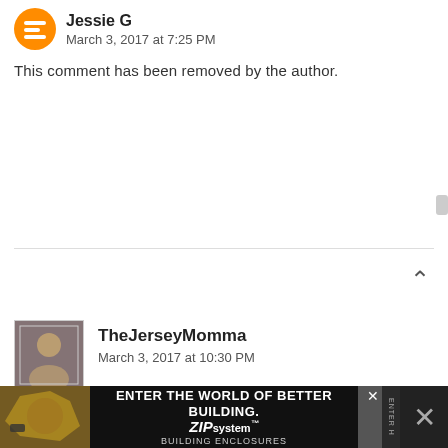Jessie G
March 3, 2017 at 7:25 PM
This comment has been removed by the author.
TheJerseyMomma
March 3, 2017 at 10:30 PM
Ugh, I'm sorry to hear that happened to you. Was that your experience using the app or on desktop? I only have experience using the online version for desktop, and I have never used the app. Thanks for sharing your experience, in case other people have the same issues!
ENTER THE WORLD OF BETTER BUILDING. ZIP system BUILDING ENCLOSURES